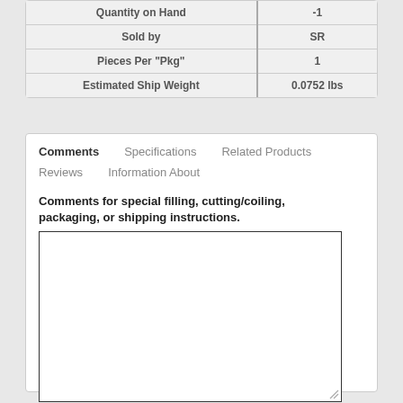|  |  |
| --- | --- |
| Quantity on Hand | -1 |
| Sold by | SR |
| Pieces Per "Pkg" | 1 |
| Estimated Ship Weight | 0.0752 lbs |
Comments    Specifications    Related Products
Reviews    Information About
Comments for special filling, cutting/coiling, packaging, or shipping instructions.
[Figure (other): Empty text area input box for comments]